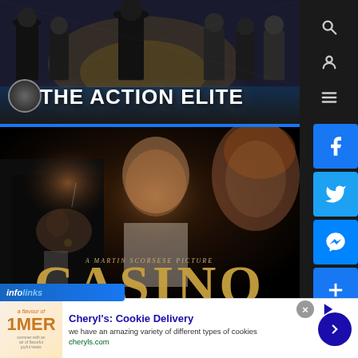[Figure (illustration): The Action Elite website header banner with silhouette figures of action movie characters and 'THE ACTION ELITE' logo text]
[Figure (illustration): Casino (1995) movie poster by Martin Scorsese showing three characters in dim dramatic lighting with text 'A MARTIN SCORSESE PICTURE' and 'CASINO']
[Figure (infographic): Infolinks branded bar and advertisement for Cheryl's Cookie Delivery with image, title, description, URL and call-to-action button]